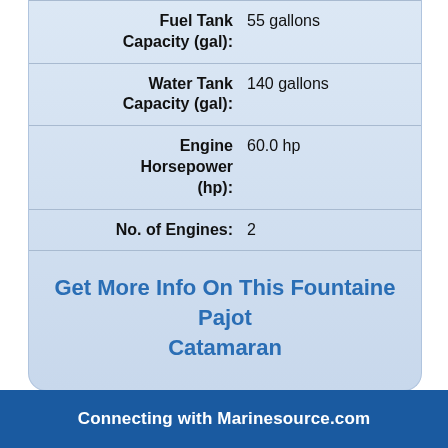| Specification | Value |
| --- | --- |
| Fuel Tank Capacity (gal): | 55 gallons |
| Water Tank Capacity (gal): | 140 gallons |
| Engine Horsepower (hp): | 60.0 hp |
| No. of Engines: | 2 |
Get More Info On This Fountaine Pajot Catamaran
Connecting with Marinesource.com